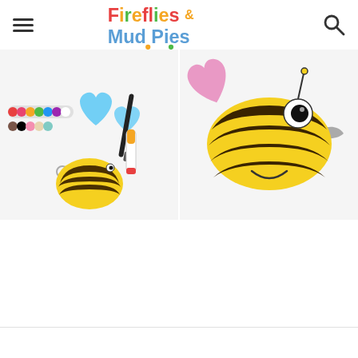Fireflies & Mud Pies
[Figure (photo): Left photo showing craft supplies on white surface: paint dots palette, blue heart-shaped paper cutouts, scissors, glue stick, black marker, and a yellow and brown striped bee body cutout made from paper plate]
[Figure (photo): Right photo showing finished paper plate bee craft with yellow and dark brown stripes, pink heart-shaped wings, googly eye, and a smile drawn on, displayed on white surface]